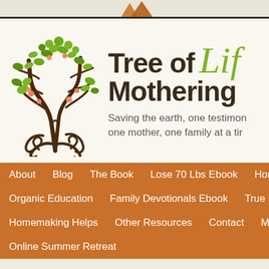[Figure (logo): Tree of Life Mothering website logo with decorative tree illustration and script/serif text reading 'Tree of Mothering Life' with tagline 'Saving the earth, one testimony, one mother, one family at a time']
About  Blog  The Book  Lose 70 Lbs Ebook  Honoring Our Fe...  Organic Education  Family Devotionals Ebook  True Science  Br...  Homemaking Helps  Other Resources  Contact  My Usborne Bo...  Online Summer Retreat
← Announcement and Giveaway of November 2016 Eternal